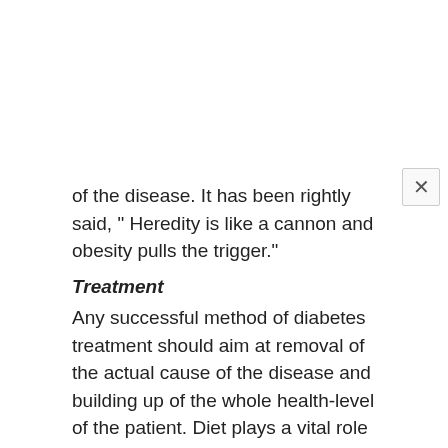of the disease. It has been rightly said, " Heredity is like a cannon and obesity pulls the trigger."
Treatment
Any successful method of diabetes treatment should aim at removal of the actual cause of the disease and building up of the whole health-level of the patient. Diet plays a vital role in such a treatment. The primary dietary consideration for a diabetic patient is that he should be a strict lacto-vegetarian and take a low-calorie, low-fat, alkaline diet of high quality natural foods. Fruits, nuts and vegetables, whole meal bread and dairy products form a good diet for the diabetic. These foods are best eaten in as dry a condition as possible to ensure thorough salivation